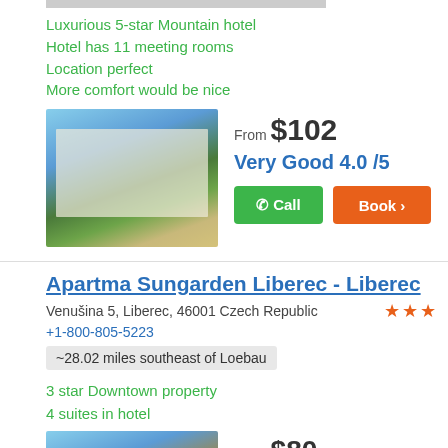Luxurious 5-star Mountain hotel
Hotel has 11 meeting rooms
Location perfect
More comfort would be nice
From $102
Very Good 4.0 /5
[Figure (photo): Hotel exterior building with lawn and pathway]
Apartma Sungarden Liberec - Liberec
Venušina 5, Liberec, 46001 Czech Republic
+1-800-805-5223
~28.02 miles southeast of Loebau
3 star Downtown property
4 suites in hotel
From $80
Very Good 4.0 /5
[Figure (photo): Hotel exterior building with trees]